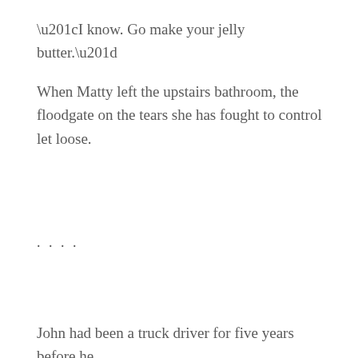“I know. Go make your jelly butter.”
When Matty left the upstairs bathroom, the floodgate on the tears she has fought to control let loose.
. . . .
John had been a truck driver for five years before he